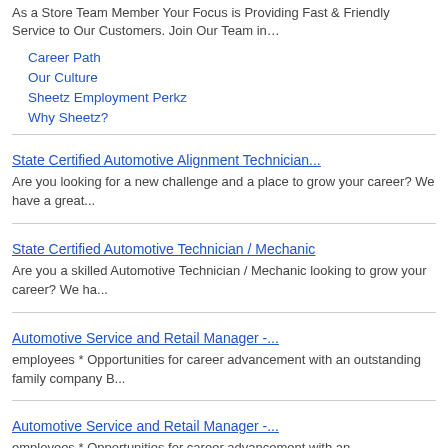As a Store Team Member Your Focus is Providing Fast & Friendly Service to Our Customers. Join Our Team in…
Career Path
Our Culture
Sheetz Employment Perkz
Why Sheetz?
State Certified Automotive Alignment Technician...
Are you looking for a new challenge and a place to grow your career? We have a great...
State Certified Automotive Technician / Mechanic
Are you a skilled Automotive Technician / Mechanic looking to grow your career? We ha...
Automotive Service and Retail Manager -...
employees * Opportunities for career advancement with an outstanding family company B...
Automotive Service and Retail Manager -...
employees * Opportunities for career advancement with an